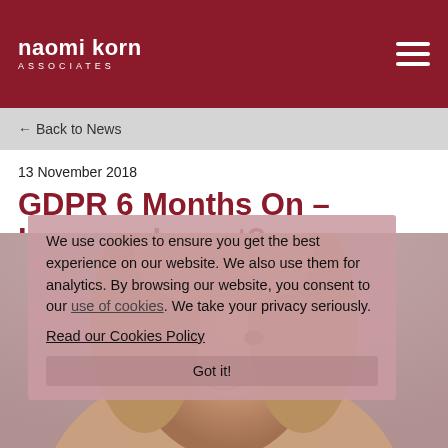naomi korn ASSOCIATES
← Back to News
13 November 2018
GDPR 6 Months On – Lessons Learnt?
[Figure (photo): Portrait photo of a woman with light brown/blonde hair, partially visible, overlaid by a cookie consent popup]
We use cookies to ensure you get the best experience on our website. We also use them for analytics. By browsing our website, you consent to our use of cookies. We take your privacy seriously.
Read our Cookies Policy
Got it!